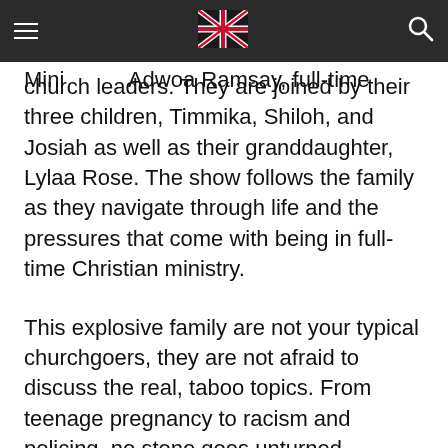follows the life of a young and energetic family, headed by Reverend Tim and Minister Adwoa Ramsay, full-time church leaders. They are joined by their three children, Timmika, Shiloh, and Josiah as well as their granddaughter, Lylaa Rose. The show follows the family as they navigate through life and the pressures that come with being in full-time Christian ministry.
This explosive family are not your typical churchgoers, they are not afraid to discuss the real, taboo topics. From teenage pregnancy to racism and policing, no stone goes unturned.
Tobi Olujinmi, the show’s creator states “we need to see more authentic black families on our screens, black families have always been the centre of the black church